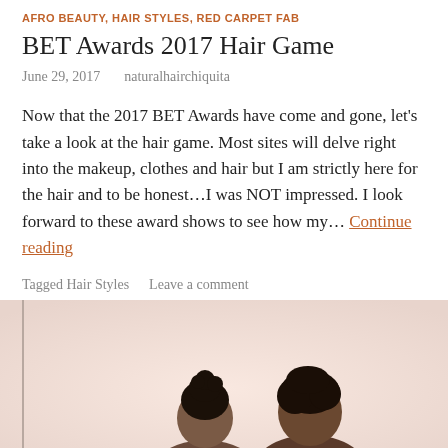AFRO BEAUTY, HAIR STYLES, RED CARPET FAB
BET Awards 2017 Hair Game
June 29, 2017   naturalhairchiquita
Now that the 2017 BET Awards have come and gone, let's take a look at the hair game. Most sites will delve right into the makeup, clothes and hair but I am strictly here for the hair and to be honest…I was NOT impressed. I look forward to these award shows to see how my… Continue reading
Tagged Hair Styles   Leave a comment
[Figure (photo): Two people photographed from behind or side, one with dark hair styled in an updo and another with darker complexion, against a light pinkish background. A vertical border line is on the left side of the image.]